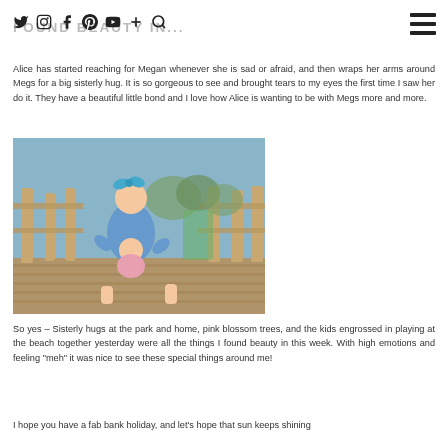FOUND BEAUTY IN...
Alice has started reaching for Megan whenever she is sad or afraid, and then wraps her arms around Megs for a big sisterly hug. It is so gorgeous to see and brought tears to my eyes the first time I saw her do it. They have a beautiful little bond and I love how Alice is wanting to be with Megs more and more.
[Figure (photo): Two children at a playground, one child hugging the other from behind on a wooden deck structure. One child wears a blue outfit and a bow in their hair.]
So yes – Sisterly hugs at the park and home, pink blossom trees, and the kids engrossed in playing at the beach together yesterday were all the things I found beauty in this week. With high emotions and feeling "meh" it was nice to see these special things around me!
I hope you have a fab bank holiday, and let's hope that sun keeps shining